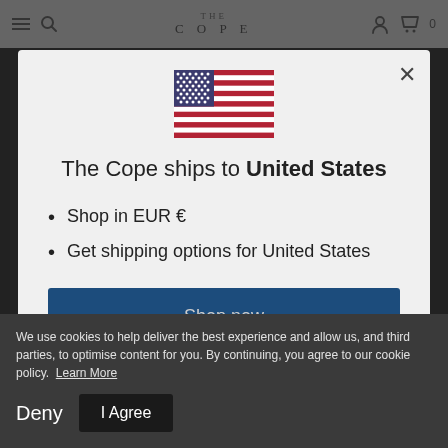THE COPE
[Figure (illustration): United States flag emoji/icon]
The Cope ships to United States
Shop in EUR €
Get shipping options for United States
Shop now
We use cookies to help deliver the best experience and allow us, and third parties, to optimise content for you. By continuing, you agree to our cookie policy. Learn More
Deny
I Agree